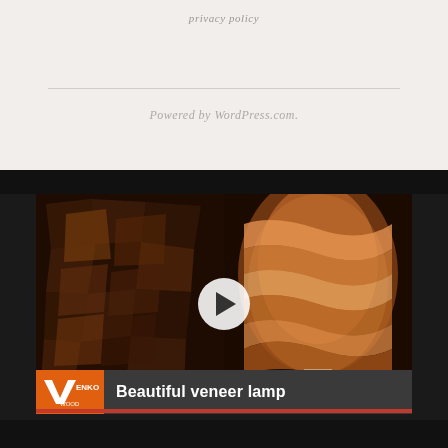privacy policy
Powered by WordPress.com.
[Figure (screenshot): Video thumbnail showing wood veneer art on the left panel (dark mosaic of wood pieces) and a glowing lamp with wavy wood veneer pattern on the right panel. A white play button circle is centered on the image. Below is a video title bar with the VENKO logo in orange and the text 'Beautiful veneer lamp' in white on a dark background.]